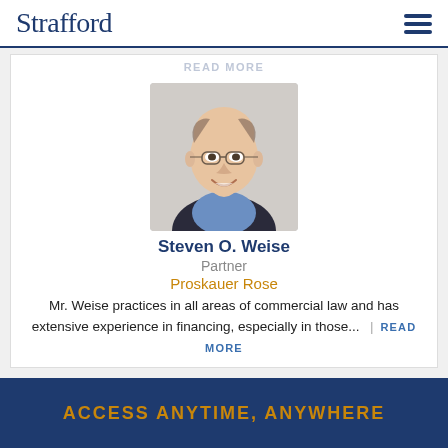Strafford
READ MORE
[Figure (photo): Headshot of Steven O. Weise, a middle-aged man with glasses, smiling, wearing a blue shirt and dark jacket]
Steven O. Weise
Partner
Proskauer Rose
Mr. Weise practices in all areas of commercial law and has extensive experience in financing, especially in those...  |  READ MORE
ACCESS ANYTIME, ANYWHERE